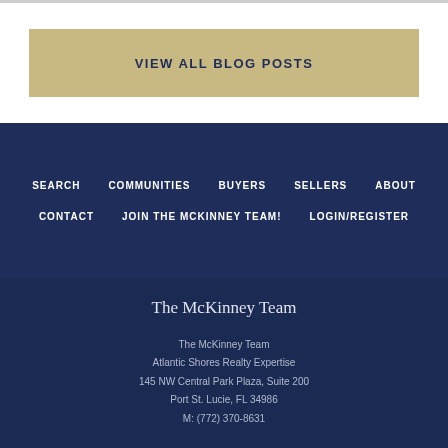VIEW ALL BLOG POSTS
SEARCH
COMMUNITIES
BUYERS
SELLERS
ABOUT
CONTACT
JOIN THE MCKINNEY TEAM!
LOGIN/REGISTER
The McKinney Team
The McKinney Team
Atlantic Shores Realty Expertise
145 NW Central Park Plaza, Suite 200
Port St. Lucie, FL 34986
M: (772) 370-8631